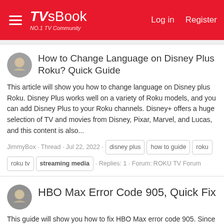TVsBook NO.1 TV Community — Log in | Register
How to Change Language on Disney Plus Roku? Quick Guide
This article will show you how to change language on Disney plus Roku. Disney Plus works well on a variety of Roku models, and you can add Disney Plus to your Roku channels. Disney+ offers a huge selection of TV and movies from Disney, Pixar, Marvel, and Lucas, and this content is also...
JimmyBox · Thread · Jul 22, 2022 · disney plus · how to guide · roku · roku tv · streaming media · Replies: 1 · Forum: ROKU TV Forum
HBO Max Error Code 905, Quick Fix
This guide will show you how to fix HBO Max error code 905. Since its launch in late 2020, HBO Max has become one of the best streaming services. In addition to content from the cable network, HBO Max offers hundreds of shows from other channels, as well as a wealth of new and original content...